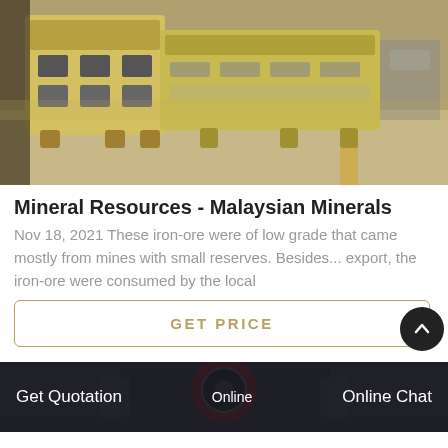[Figure (photo): Industrial yellow crusher/mining equipment in a factory/warehouse setting, viewed from the side on a concrete floor.]
Mineral Resources - Malaysian Minerals
Nov 18, 2021 These iron-ore were of low grade that came mostly from mines with small reserves. Besides... export, the iron-ore were consumed by the local
[Figure (other): GET PRICE button with rounded border and a dark circular up-arrow button on the right.]
[Figure (photo): Industrial machinery in a factory with a large red circular component visible.]
Online
Get Quotation
Online Chat